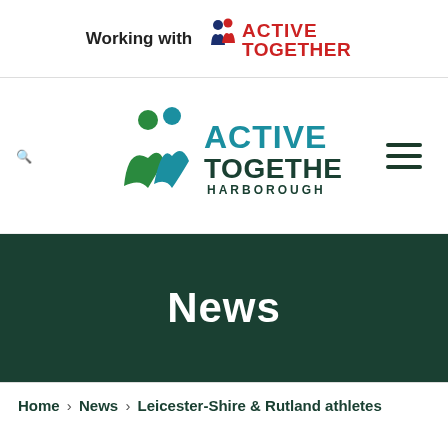[Figure (logo): Working with Active Together logo - top header bar with small Active Together logo (navy and red figures with ACTIVE TOGETHER text in red)]
[Figure (logo): Active Together Harborough logo - large centered logo with green and teal figures and ACTIVE TOGETHER HARBOROUGH text in teal/dark teal]
News
Home › News › Leicester-Shire & Rutland athletes